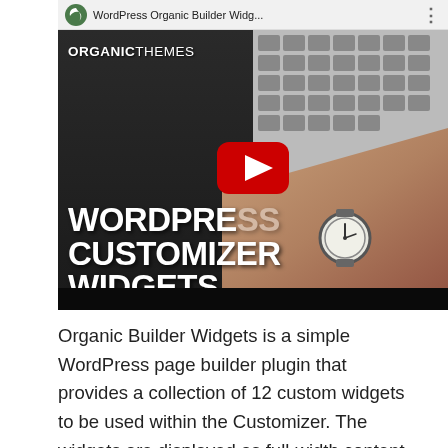[Figure (screenshot): YouTube video thumbnail showing 'WordPress Organic Builder Widg...' title in the top bar. The thumbnail background is dark/black with text 'ORGANIC THEMES' at the top left, and large bold white text 'WORDPRESS CUSTOMIZER WIDGETS' overlaid. A red YouTube play button is centered. The right half shows a hand resting on a laptop keyboard, wearing an analog watch.]
Organic Builder Widgets is a simple WordPress page builder plugin that provides a collection of 12 custom widgets to be used within the Customizer. The widgets are displayed as full-width content sections